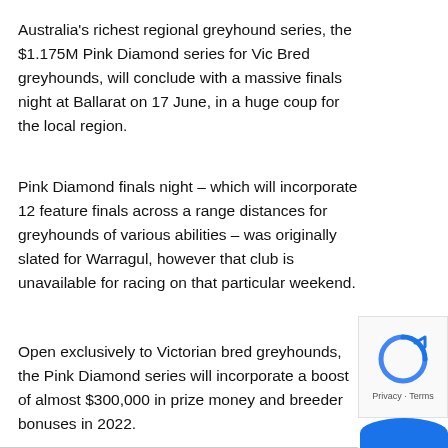Australia's richest regional greyhound series, the $1.175M Pink Diamond series for Vic Bred greyhounds, will conclude with a massive finals night at Ballarat on 17 June, in a huge coup for the local region.
Pink Diamond finals night – which will incorporate 12 feature finals across a range distances for greyhounds of various abilities – was originally slated for Warragul, however that club is unavailable for racing on that particular weekend.
Open exclusively to Victorian bred greyhounds, the Pink Diamond series will incorporate a boost of almost $300,000 in prize money and breeder bonuses in 2022.